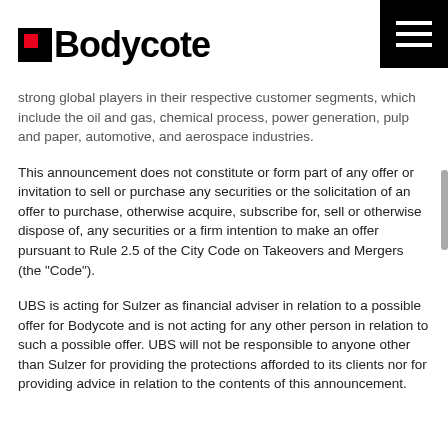[Figure (logo): Bodycote logo with black square containing red inner square, bold black text 'Bodycote']
[Figure (other): Black hamburger menu icon (three white horizontal lines on black background)]
strong global players in their respective customer segments, which include the oil and gas, chemical process, power generation, pulp and paper, automotive, and aerospace industries.
This announcement does not constitute or form part of any offer or invitation to sell or purchase any securities or the solicitation of an offer to purchase, otherwise acquire, subscribe for, sell or otherwise dispose of, any securities or a firm intention to make an offer pursuant to Rule 2.5 of the City Code on Takeovers and Mergers (the "Code").
UBS is acting for Sulzer as financial adviser in relation to a possible offer for Bodycote and is not acting for any other person in relation to such a possible offer. UBS will not be responsible to anyone other than Sulzer for providing the protections afforded to its clients nor for providing advice in relation to the contents of this announcement.